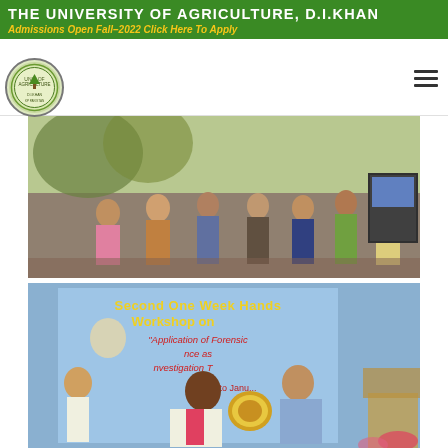THE UNIVERSITY OF AGRICULTURE, D.I.KHAN
Admissions Open Fall-2022 Click Here To Apply
[Figure (photo): Logo of The University of Agriculture D.I.Khan — circular emblem with agricultural imagery]
[Figure (photo): Outdoor group photo showing people standing under trees at a university event]
[Figure (photo): Indoor event photo showing two people exchanging a shield/plaque in front of a banner reading Second One Week Hands on Workshop on Application of Forensic Science as Investigation Tool, 30th to...]